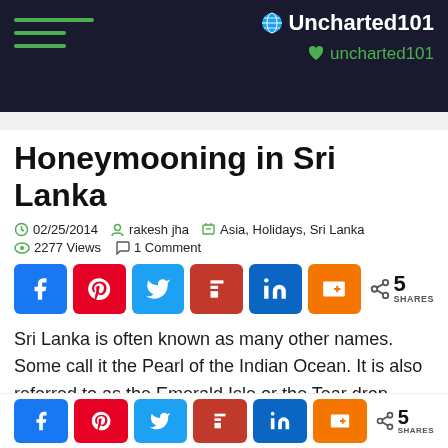Uncharted101 | uncharted101
Honeymooning in Sri Lanka
02/25/2014  rakesh jha  Asia, Holidays, Sri Lanka
2277 Views  1 Comment
Sri Lanka is often known as many other names. Some call it the Pearl of the Indian Ocean. It is also referred to as the Emerald Isle or the Tear drop Island. Whatever the sobriquets, they all befit Sri Lanka. An island off the southern coast of the Indian Peninsula, Sri Lanka is a beautiful, bountiful and romantic tourist destination, full of adventure